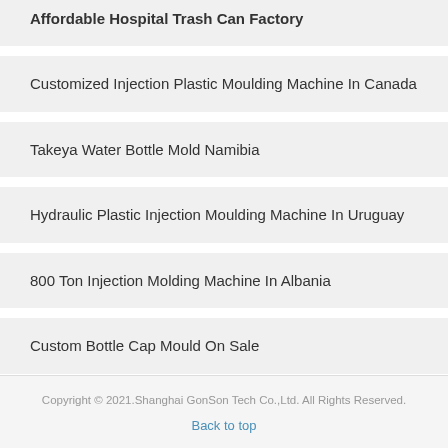Affordable Hospital Trash Can Factory
Customized Injection Plastic Moulding Machine In Canada
Takeya Water Bottle Mold Namibia
Hydraulic Plastic Injection Moulding Machine In Uruguay
800 Ton Injection Molding Machine In Albania
Custom Bottle Cap Mould On Sale
Copyright © 2021.Shanghai GonSon Tech Co.,Ltd. All Rights Reserved.
Back to top